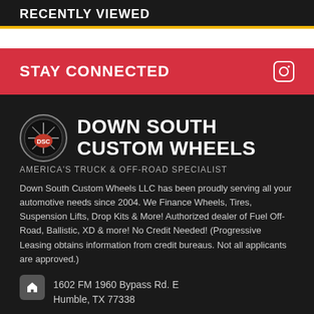RECENTLY VIEWED
STAY CONNECTED
DOWN SOUTH CUSTOM WHEELS
AMERICA'S TRUCK & OFF-ROAD SPECIALIST
Down South Custom Wheels LLC has been proudly serving all your automotive needs since 2004. We Finance Wheels, Tires, Suspension Lifts, Drop Kits & More! Authorized dealer of Fuel Off-Road, Ballistic, XD & more! No Credit Needed! (Progressive Leasing obtains information from credit bureaus. Not all applicants are approved.)
1602 FM 1960 Bypass Rd. E
Humble, TX 77338
1-281-987-8500